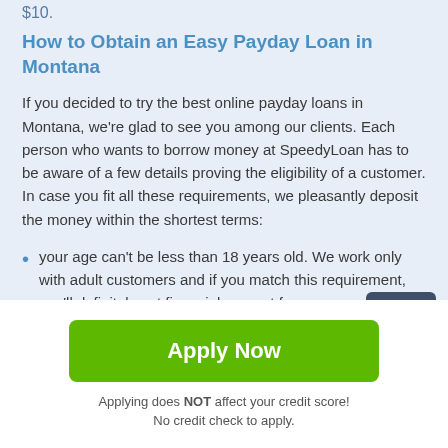$10.
How to Obtain an Easy Payday Loan in Montana
If you decided to try the best online payday loans in Montana, we're glad to see you among our clients. Each person who wants to borrow money at SpeedyLoan has to be aware of a few details proving the eligibility of a customer. In case you fit all these requirements, we pleasantly deposit the money within the shortest terms:
your age can't be less than 18 years old. We work only with adult customers and if you match this requirement, you'll definitely get financial support from us;
residents of Montana get extra funds in 100% cases. If
Apply Now
Applying does NOT affect your credit score!
No credit check to apply.